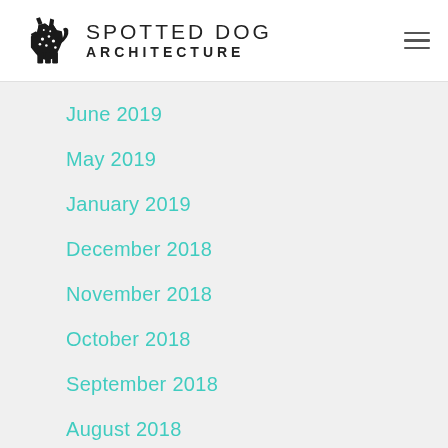SPOTTED DOG ARCHITECTURE
June 2019
May 2019
January 2019
December 2018
November 2018
October 2018
September 2018
August 2018
July 2018
May 2018